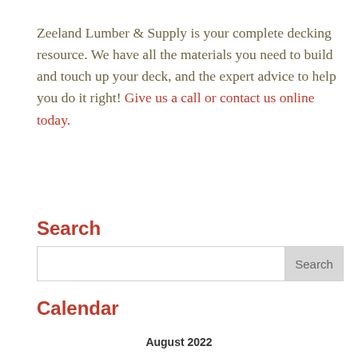Zeeland Lumber & Supply is your complete decking resource. We have all the materials you need to build and touch up your deck, and the expert advice to help you do it right! Give us a call or contact us online today.
Search
Calendar
August 2022